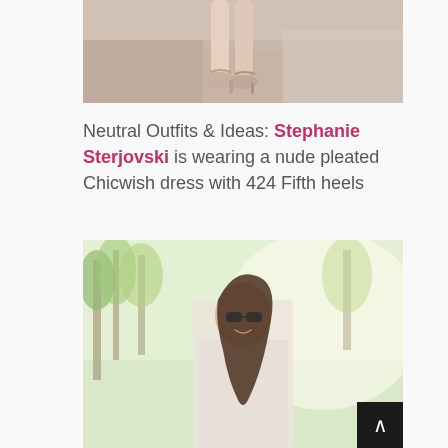[Figure (photo): Cropped photo of a woman's legs wearing nude/blush ankle-strap heels, standing on a light concrete surface with white block structures in the background]
Neutral Outfits & Ideas: Stephanie Sterjovski is wearing a nude pleated Chicwish dress with 424 Fifth heels
[Figure (photo): Photo of a smiling woman with long dark hair wearing sunglasses and a light/cream blazer, standing outdoors among green trees]